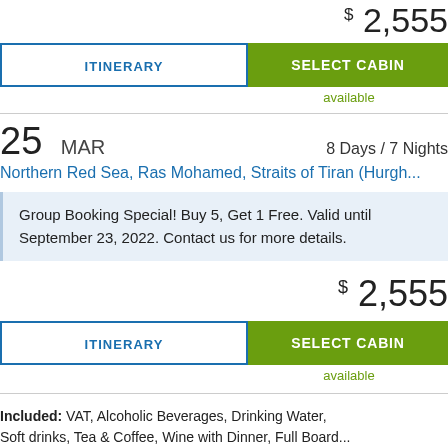$ 2,555
ITINERARY
SELECT CABIN
available
25 MAR — 8 Days / 7 Nights
Northern Red Sea, Ras Mohamed, Straits of Tiran (Hurgh...
Group Booking Special! Buy 5, Get 1 Free. Valid until September 23, 2022. Contact us for more details.
$ 2,555
ITINERARY
SELECT CABIN
available
Included: VAT, Alcoholic Beverages, Drinking Water, Soft drinks, Tea & Coffee, Wine with Dinner, Full Board...